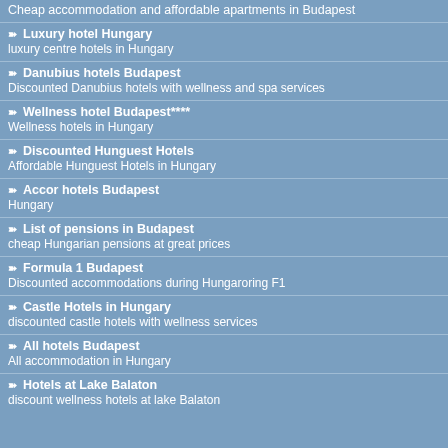Cheap accommodation and affordable apartments in Budapest
Luxury hotel Hungary
luxury centre hotels in Hungary
Danubius hotels Budapest
Discounted Danubius hotels with wellness and spa services
Wellness hotel Budapest****
Wellness hotels in Hungary
Discounted Hunguest Hotels
Affordable Hunguest Hotels in Hungary
Accor hotels Budapest
Hungary
List of pensions in Budapest
cheap Hungarian pensions at great prices
Formula 1 Budapest
Discounted accommodations during Hungaroring F1
Castle Hotels in Hungary
discounted castle hotels with wellness services
All hotels Budapest
All accommodation in Hungary
Hotels at Lake Balaton
discount wellness hotels at lake Balaton